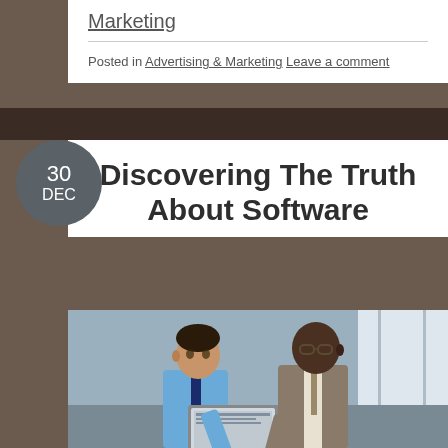Marketing
Posted in Advertising & Marketing Leave a comment
30 DEC
Discovering The Truth About Software
[Figure (photo): Two businessmen looking at a laptop computer together in an office setting]